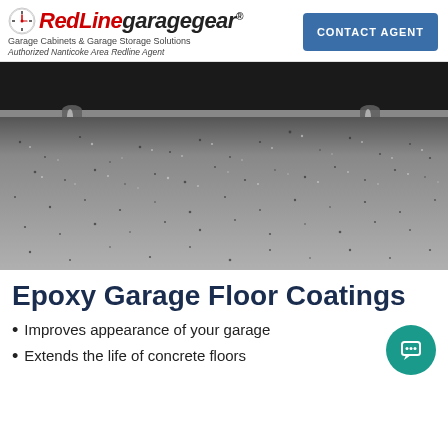[Figure (logo): RedLine Garage Gear logo with clock icon, tagline 'Garage Cabinets & Garage Storage Solutions' and 'Authorized Nanticoke Area Redline Agent']
CONTACT AGENT
[Figure (photo): Close-up photograph of an epoxy-coated garage floor with speckled gray texture; blurred metal furniture legs visible in the background]
Epoxy Garage Floor Coatings
Improves appearance of your garage
Extends the life of concrete floors